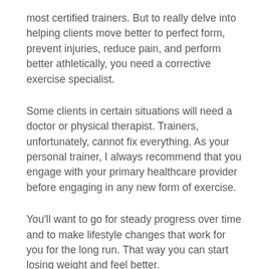most certified trainers. But to really delve into helping clients move better to perfect form, prevent injuries, reduce pain, and perform better athletically, you need a corrective exercise specialist.
Some clients in certain situations will need a doctor or physical therapist. Trainers, unfortunately, cannot fix everything. As your personal trainer, I always recommend that you engage with your primary healthcare provider before engaging in any new form of exercise.
You'll want to go for steady progress over time and to make lifestyle changes that work for you for the long run. That way you can start losing weight and feel better.